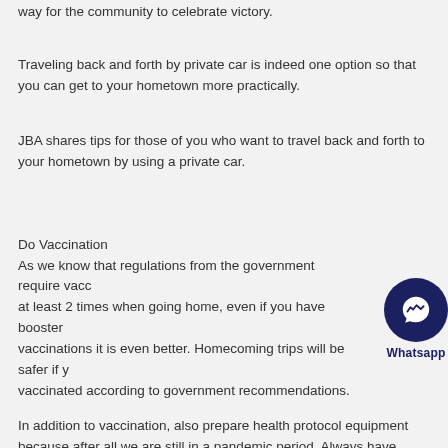way for the community to celebrate victory.
Traveling back and forth by private car is indeed one option so that you can get to your hometown more practically.
JBA shares tips for those of you who want to travel back and forth to your hometown by using a private car.
Do Vaccination
As we know that regulations from the government require vaccinations at least 2 times when going home, even if you have booster vaccinations it is even better. Homecoming trips will be safer if you have vaccinated according to government recommendations.
In addition to vaccination, also prepare health protocol equipment because after all we are still in a pandemic period. Always have personal medicines, masks, hand sanitizers, and so on.
Plan the Route To Be Traversed